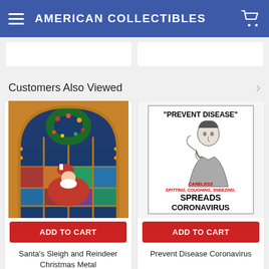AMERICAN COLLECTIBLES
Customers Also Viewed
[Figure (photo): Stained glass style image of Santa's sleigh with reindeer and Christmas wreath]
ADD TO CART
Santa's Sleigh and Reindeer Christmas Metal
[Figure (photo): Vintage-style public health sign: PREVENT DISEASE - Careless Spitting, Coughing, Sneezing SPREADS CORONAVIRUS]
ADD TO CART
Prevent Disease Coronavirus